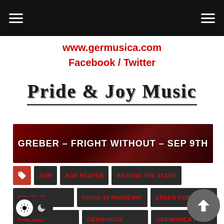Navigation header with hamburger menus
www.germusica.com
Facebook / Twitter
[Figure (logo): Pride & Joy Music logo in metallic gothic font with underline]
[Figure (infographic): Banner: GREBER - FRIGHT WITHOUT - SEP 9TH on dark red textured background]
AOR
AOR HEAVEN
BEYOND THE STARS
COVID-19
COVID-19 PANDEMIC
ERKKA KORHONEN
FINLAND
GERMUSICA
GERMUSICA PR
HARDROCK
HEAVEN OR HELL
MIKA BRUSHANE
PAOLO RIBALDINI
ROBBIE LABLANC
ROBERT ERNLUND